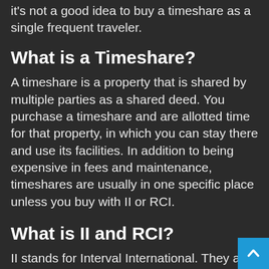it's not a good idea to buy a timeshare as a single frequent traveler.
What is a Timeshare?
A timeshare is a property that is shared by multiple parties as a shared deed. You purchase a timeshare and are allotted time for that property, in which you can stay there and use its facilities. In addition to being expensive in fees and maintenance, timeshares are usually in one specific place unless you buy with II or RCI.
What is II and RCI?
II stands for Interval International. They are a group that sells vacation ownership, meaning that you can purchase a timeshare that is transferable to other parts of the world. They